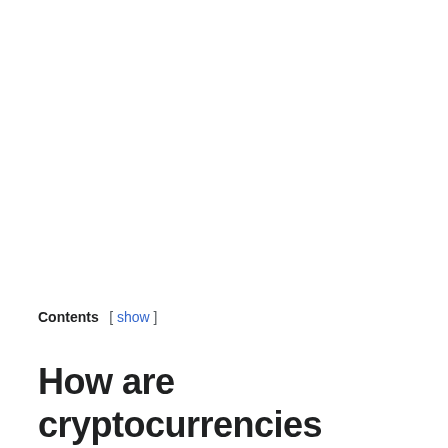Contents [ show ]
How are cryptocurrencies classified in Germany?